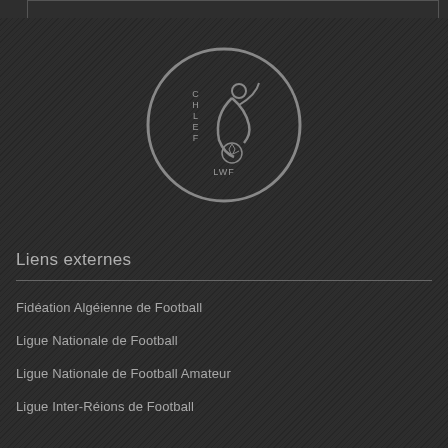[Figure (logo): CHLEF LWF football league circular logo with a stylized player figure and football]
Liens externes
Fidéation Algéienne de Football
Ligue Nationale de Football
Ligue Nationale de Football Amateur
Ligue Inter-Réions de Football